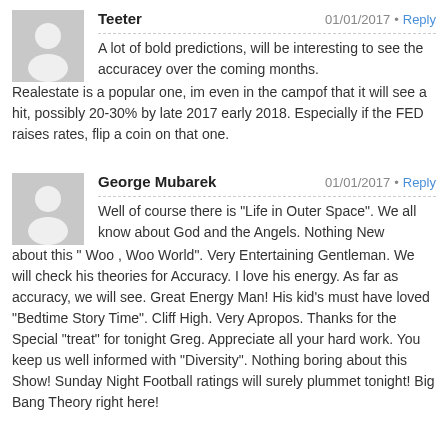Teeter — 01/01/2017 · Reply
A lot of bold predictions, will be interesting to see the accuracey over the coming months. Realestate is a popular one, im even in the campof that it will see a hit, possibly 20-30% by late 2017 early 2018. Especially if the FED raises rates, flip a coin on that one.
George Mubarek — 01/01/2017 · Reply
Well of course there is "Life in Outer Space". We all know about God and the Angels. Nothing New about this " Woo , Woo World". Very Entertaining Gentleman. We will check his theories for Accuracy. I love his energy. As far as accuracy, we will see. Great Energy Man! His kid's must have loved "Bedtime Story Time". Cliff High. Very Apropos. Thanks for the Special "treat" for tonight Greg. Appreciate all your hard work. You keep us well informed with "Diversity". Nothing boring about this Show! Sunday Night Football ratings will surely plummet tonight! Big Bang Theory right here!